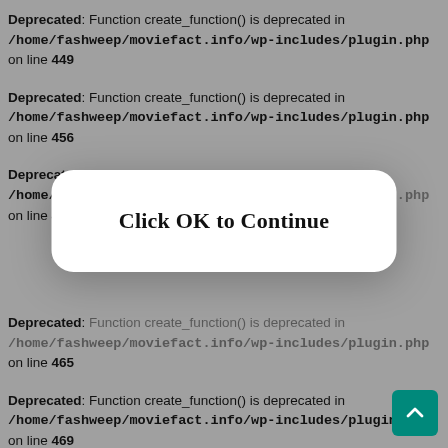Deprecated: Function create_function() is deprecated in /home/fashweep/moviefact.info/wp-includes/plugin.php on line 449
Deprecated: Function create_function() is deprecated in /home/fashweep/moviefact.info/wp-includes/plugin.php on line 456
Deprecated: Function create_function() is deprecated in /home/fashweep/moviefact.info/wp-includes/plugin.php on line 460
[Figure (screenshot): Modal dialog box with white rounded rectangle containing the text 'Click OK to Continue' in bold serif font, overlaying the error messages]
Deprecated: Function create_function() is deprecated in /home/fashweep/moviefact.info/wp-includes/plugin.php on line 465
Deprecated: Function create_function() is deprecated in /home/fashweep/moviefact.info/wp-includes/plugin.php on line 469
Deprecated: Function create_function() is deprecated in /home/fashweep/moviefact.info/wp-includes/plugin.php on line [partially obscured]